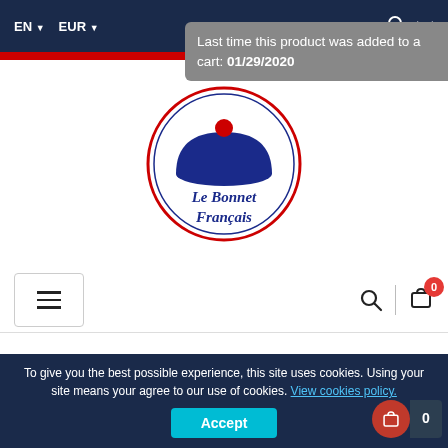EN  EUR
Last time this product was added to a cart: 01/29/2020
[Figure (logo): Le Bonnet Français circular logo with blue beret shape, red dot, and script text]
☰  🔍 | 🛍 0
Home / Beanies / The French Beanie – LE FRANÇAIS – BBR
To give you the best possible experience, this site uses cookies. Using your site means your agree to our use of cookies. View cookies policy.
Accept